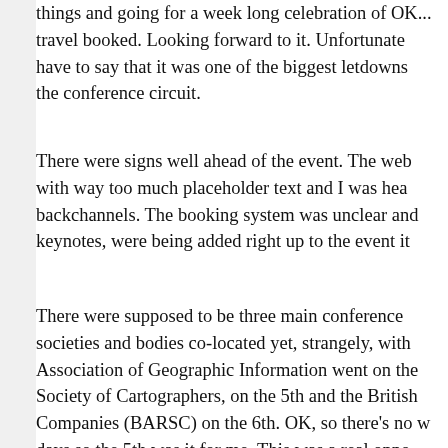things and going for a week long celebration of OK... travel booked. Looking forward to it. Unfortunately have to say that it was one of the biggest letdowns the conference circuit.
There were signs well ahead of the event. The web with way too much placeholder text and I was hea backchannels. The booking system was unclear and keynotes, were being added right up to the event it
There were supposed to be three main conference societies and bodies co-located yet, strangely, with Association of Geographic Information went on the Society of Cartographers, on the 5th and the British Companies (BARSC) on the 6th. OK, so there's no w days so the 5th was it for me. This was a real oppo pollination of communities. I'd certainly have been from the other days but not for separate registratio on the 4th and 6th and numbers were not healthy